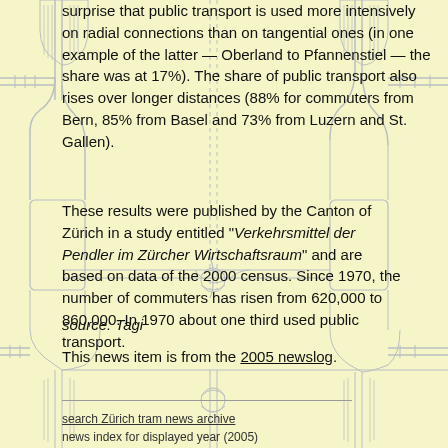surprise that public transport is used more intensively on radial connections than on tangential ones (in one example of the latter — Oberland to Pfannenstiel — the share was at 17%). The share of public transport also rises over longer distances (88% for commuters from Bern, 85% from Basel and 73% from Luzern and St. Gallen).
These results were published by the Canton of Zürich in a study entitled "Verkehrsmittel der Pendler im Zürcher Wirtschaftsraum" and are based on data of the 2000 census. Since 1970, the number of commuters has risen from 620,000 to 860,000. In 1970 about one third used public transport.
source: Tagi
This news item is from the 2005 newslog.
[Figure (illustration): Background tram network/track diagram in light blue-grey lines on pale yellow background, showing stylized track intersections, switches, and connections]
search Zürich tram news archive
news index for displayed year (2005)